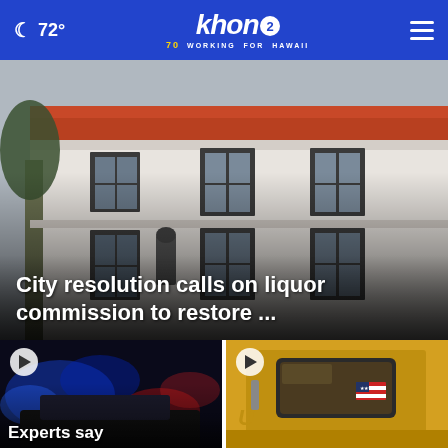72° khon2 WORKING FOR HAWAII
[Figure (photo): Exterior of a white building with red tile roof, windows, and palm tree. Headline overlay: City resolution calls on liquor commission to restore ...]
City resolution calls on liquor commission to restore ...
[Figure (photo): Police car with blue and red lights at night scene. Text overlay: Experts say]
[Figure (photo): Yellow school bus door with American flag sticker]